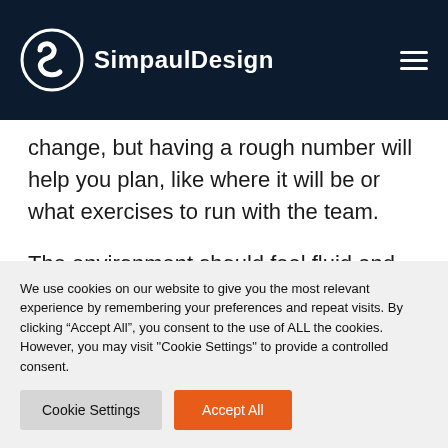SimpaulDesign
change, but having a rough number will help you plan, like where it will be or what exercises to run with the team.
The environment should feel fluid and open to encourage dialogue among
We use cookies on our website to give you the most relevant experience by remembering your preferences and repeat visits. By clicking “Accept All”, you consent to the use of ALL the cookies. However, you may visit "Cookie Settings" to provide a controlled consent.